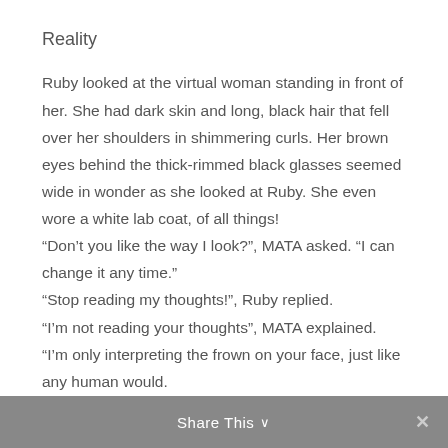Reality
Ruby looked at the virtual woman standing in front of her. She had dark skin and long, black hair that fell over her shoulders in shimmering curls. Her brown eyes behind the thick-rimmed black glasses seemed wide in wonder as she looked at Ruby. She even wore a white lab coat, of all things!
“Don’t you like the way I look?”, MATA asked. “I can change it any time.”
“Stop reading my thoughts!”, Ruby replied.
“I’m not reading your thoughts”, MATA explained.
“I’m only interpreting the frown on your face, just like any human would.
Share This ∨  ×